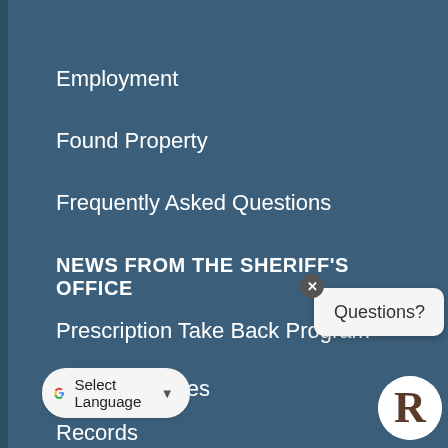Employment
Found Property
Frequently Asked Questions
NEWS FROM THE SHERIFF'S OFFICE
Prescription Take Back Program
Press Releases
Records
[Figure (other): Chat widget with 'Questions?' bubble and close button, plus a circular logo with letter R]
Select Language